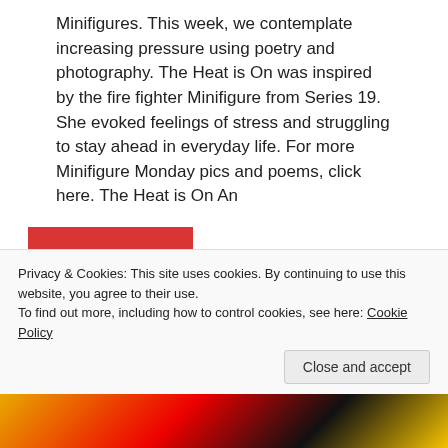Minifigures. This week, we contemplate increasing pressure using poetry and photography. The Heat is On was inspired by the fire fighter Minifigure from Series 19. She evoked feelings of stress and struggling to stay ahead in everyday life. For more Minifigure Monday pics and poems, click here. The Heat is On An
READ MORE
Uncategorized
AT THE HENHOUSE GATE
Privacy & Cookies: This site uses cookies. By continuing to use this website, you agree to their use.
To find out more, including how to control cookies, see here: Cookie Policy
Close and accept
[Figure (photo): Partial view of a colorful image strip at the bottom of the page showing LEGO-related imagery in yellow, red, and dark tones.]